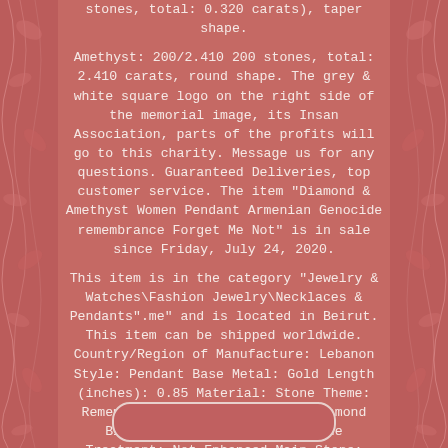stones, total: 0.320 carats), taper shape.

Amethyst: 200/2.410 200 stones, total: 2.410 carats, round shape. The grey & white square logo on the right side of the memorial image, its Insan Association, parts of the profits will go to this charity. Message us for any questions. Guaranteed Deliveries, top customer service. The item "Diamond & Amethyst Women Pendant Armenian Genocide remembrance Forget Me Not" is in sale since Friday, July 24, 2020.

This item is in the category "Jewelry & Watches\Fashion Jewelry\Necklaces & Pendants".me" and is located in Beirut. This item can be shipped worldwide. Country/Region of Manufacture: Lebanon Style: Pendant Base Metal: Gold Length (inches): 0.85 Material: Stone Theme: Remembrance Secondary Stone: Diamond Black Color: violet Main Stone Treatment: Not Enhanced Main Stone: Diamond Pendant Shape: Flower Main Stone Creation: Natural Brand: Hadidian Metal: Gold